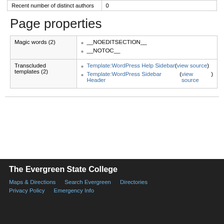|  |  |
| --- | --- |
| Recent number of distinct authors | 0 |
Page properties
| Property | Value |
| --- | --- |
| Magic words (2) | • __NOEDITSECTION__
• __NOTOC__ |
| Transcluded templates (2) | • Template:WordPress Help Sidebar (view source)
• Template:WordPress Sidebar Header (view source) |
The Evergreen State College
Maps & Directions  Search Evergreen  Directories
Privacy Policy  Emergency Info